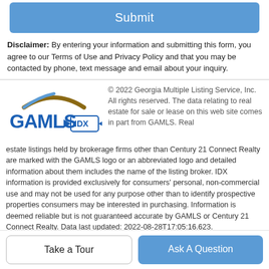Submit
Disclaimer: By entering your information and submitting this form, you agree to our Terms of Use and Privacy Policy and that you may be contacted by phone, text message and email about your inquiry.
[Figure (logo): GAMLS IDX logo - Georgia Multiple Listing Service logo with blue GAMLS text and IDX badge]
© 2022 Georgia Multiple Listing Service, Inc. All rights reserved. The data relating to real estate for sale or lease on this web site comes in part from GAMLS. Real estate listings held by brokerage firms other than Century 21 Connect Realty are marked with the GAMLS logo or an abbreviated logo and detailed information about them includes the name of the listing broker. IDX information is provided exclusively for consumers' personal, non-commercial use and may not be used for any purpose other than to identify prospective properties consumers may be interested in purchasing. Information is deemed reliable but is not guaranteed accurate by GAMLS or Century 21 Connect Realty. Data last updated: 2022-08-28T17:05:16.623.
Take a Tour
Ask A Question